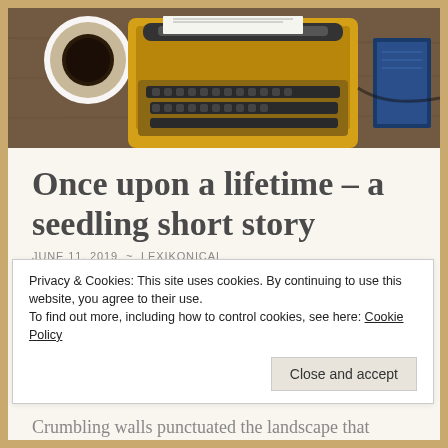[Figure (photo): Photograph of a yellow vintage typewriter with a coffee mug on the left and a notebook/blue object on the right, viewed from above on a wooden surface.]
Once upon a lifetime – a seedling short story
JUNE 11, 2019  ~  LEXIKONICAL
Once a #century, the black knight walks the Earth looking for souls to claim. Each century I try to stop him – each time I am
Privacy & Cookies: This site uses cookies. By continuing to use this website, you agree to their use.
To find out more, including how to control cookies, see here: Cookie Policy
Close and accept
Crumbling walls punctuated the landscape that